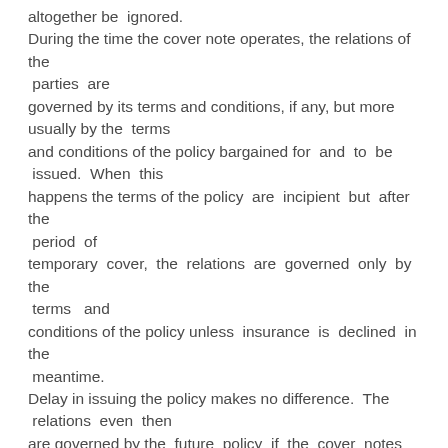altogether be ignored. During the time the cover note operates, the relations of the parties are governed by its terms and conditions, if any, but more usually by the terms and conditions of the policy bargained for and to be issued. When this happens the terms of the policy are incipient but after the period of temporary cover, the relations are governed only by the terms and conditions of the policy unless insurance is declined in the meantime. Delay in issuing the policy makes no difference. The relations even then are governed by the future policy if the cover notes give sufficient indication that it would be so. In other respects there is no difference between a contract of insurance and any other contract except that in a contract of insurance there is a requirement of uberrima